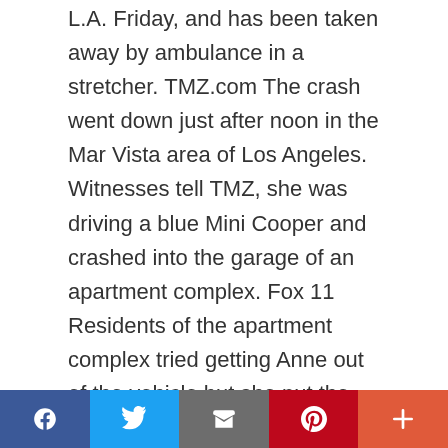L.A. Friday, and has been taken away by ambulance in a stretcher. TMZ.com The crash went down just after noon in the Mar Vista area of Los Angeles. Witnesses tell TMZ, she was driving a blue Mini Cooper and crashed into the garage of an apartment complex. Fox 11 Residents of the apartment complex tried getting Anne out of the vehicle but she put the car in reverse and then sped off. A short time later, she crashed into a nearby home, igniting a fire. The fire was significant and engulfed the house. TMZ.com Look closely at the photo of Anne inside the car (above) ... there's a bottle with a red cap in the cupholder next to the gearshift, and it looks like a bottle of alcohol.
[Figure (other): Social sharing bar with Facebook, Twitter, Email, Pinterest, and More (+) buttons]